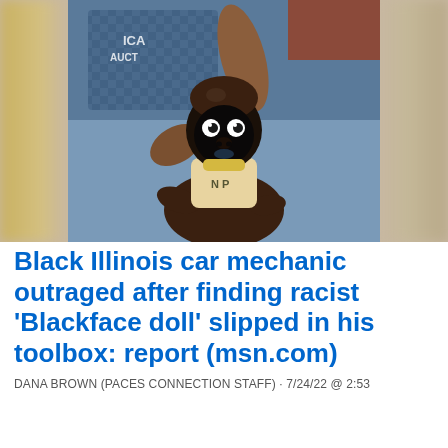[Figure (photo): A hand holding a small figurine with a dark painted face (blackface doll), wearing a light-colored outfit, against a blurred background showing someone in a blue checkered shirt.]
Black Illinois car mechanic outraged after finding racist 'Blackface doll' slipped in his toolbox: report (msn.com)
DANA BROWN (PACES CONNECTION STAFF) · 7/24/22 @ 2:53